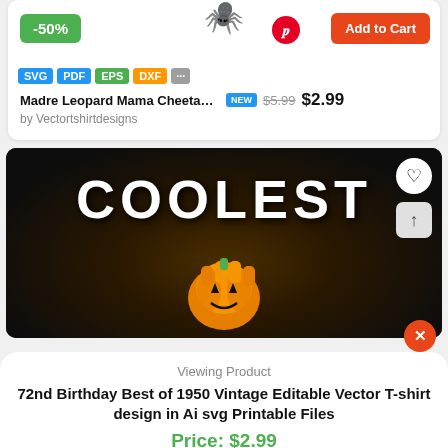[Figure (screenshot): Product card showing -50% badge, Add to Cart button, format badges (SVG, PDF, EPS, DXF), spider icon, and Pinterest icon]
Madre Leopard Mama Cheetah Mom M...  NEW  $5.99  $2.99
by Vectortshirtdesigns
[Figure (photo): Dark background product image showing 'COOLEST' text in white bold font with orange muscular pumpkin fist graphic below, heart button and up-arrow button on right side]
Viewing Product
72nd Birthday Best of 1950 Vintage Editable Vector T-shirt design in Ai svg Printable Files
Price: $2.99
Add to cart